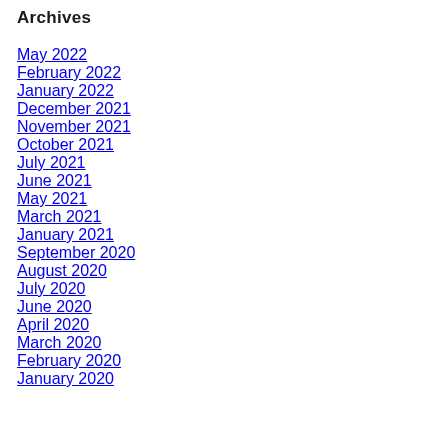Archives
May 2022
February 2022
January 2022
December 2021
November 2021
October 2021
July 2021
June 2021
May 2021
March 2021
January 2021
September 2020
August 2020
July 2020
June 2020
April 2020
March 2020
February 2020
January 2020